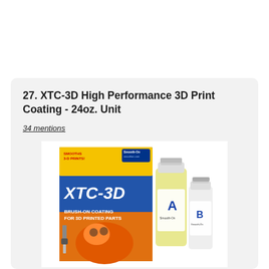27. XTC-3D High Performance 3D Print Coating - 24oz. Unit
34 mentions
[Figure (photo): Product photo of XTC-3D High Performance 3D Print Coating - showing a yellow and blue box labeled 'XTC-3D BRUSH-ON COATING FOR 3D PRINTED PARTS' with two bottles (Part A and Part B) alongside it, on a white background.]